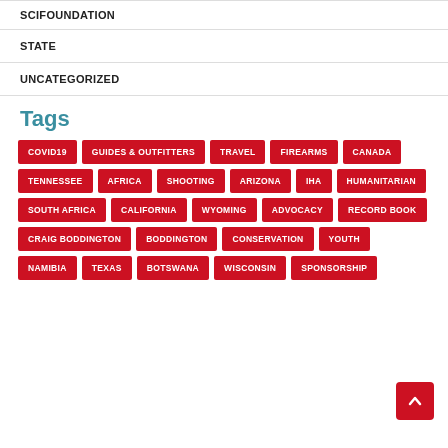SCIFOUNDATION
STATE
UNCATEGORIZED
Tags
COVID19
GUIDES & OUTFITTERS
TRAVEL
FIREARMS
CANADA
TENNESSEE
AFRICA
SHOOTING
ARIZONA
IHA
HUMANITARIAN
SOUTH AFRICA
CALIFORNIA
WYOMING
ADVOCACY
RECORD BOOK
CRAIG BODDINGTON
BODDINGTON
CONSERVATION
YOUTH
NAMIBIA
TEXAS
BOTSWANA
WISCONSIN
SPONSORSHIP